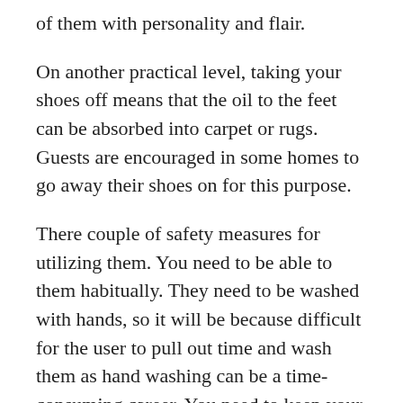of them with personality and flair.
On another practical level, taking your shoes off means that the oil to the feet can be absorbed into carpet or rugs. Guests are encouraged in some homes to go away their shoes on for this purpose.
There couple of safety measures for utilizing them. You need to be able to them habitually. They need to be washed with hands, so it will be because difficult for the user to pull out time and wash them as hand washing can be a time-consuming career. You need to keep your bag clean so that bacteria don't accumulate and in addition it remains germs free. You should dry it before storing it or reusing thought. Some of the Bags which include of organic material far more expensive, and they are totally safe for long-term practice.
There are wide ranging reasons the reasons women opt